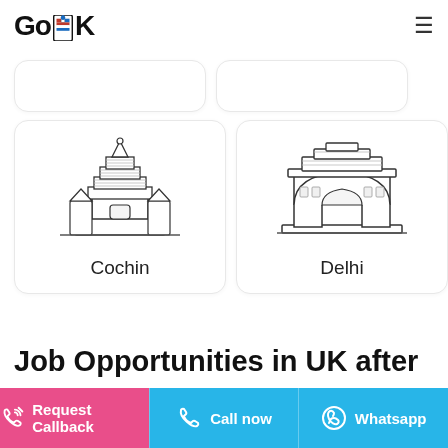GoUK (logo) — hamburger menu
[Figure (illustration): Partially visible card row at top (cropped cards)]
[Figure (illustration): Card with South Indian temple icon labeled Cochin]
[Figure (illustration): Card with India Gate icon labeled Delhi]
Job Opportunities in UK after
Request Callback | Call now | Whatsapp